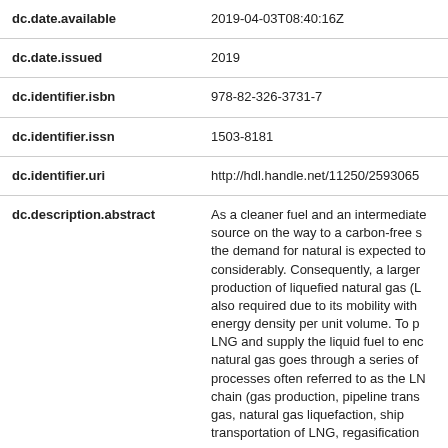| Field | Value |
| --- | --- |
| dc.date.available | 2019-04-03T08:40:16Z |
| dc.date.issued | 2019 |
| dc.identifier.isbn | 978-82-326-3731-7 |
| dc.identifier.issn | 1503-8181 |
| dc.identifier.uri | http://hdl.handle.net/11250/2593065 |
| dc.description.abstract | As a cleaner fuel and an intermediate source on the way to a carbon-free s the demand for natural is expected to considerably. Consequently, a larger production of liquefied natural gas (L also required due to its mobility with energy density per unit volume. To p LNG and supply the liquid fuel to enc natural gas goes through a series of processes often referred to as the LN chain (gas production, pipeline trans gas, natural gas liquefaction, ship transportation of LNG, regasification |